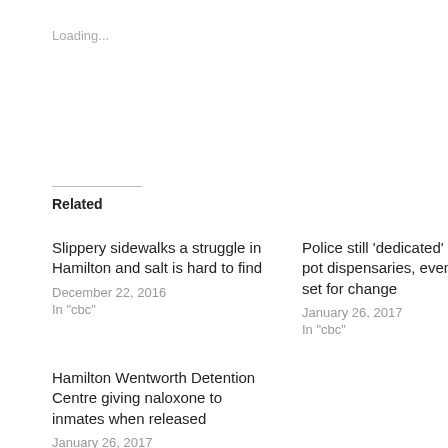Loading...
Related
Slippery sidewalks a struggle in Hamilton and salt is hard to find
December 22, 2016
In "cbc"
Police still 'dedicated' to busting pot dispensaries, even as laws set for change
January 26, 2017
In "cbc"
Hamilton Wentworth Detention Centre giving naloxone to inmates when released
January 26, 2017
In "carfentanil"